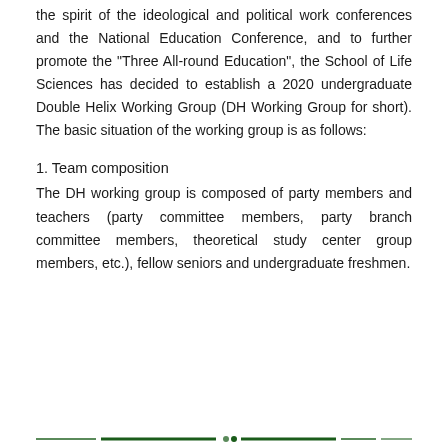the spirit of the ideological and political work conferences and the National Education Conference, and to further promote the "Three All-round Education", the School of Life Sciences has decided to establish a 2020 undergraduate Double Helix Working Group (DH Working Group for short). The basic situation of the working group is as follows:
1. Team composition
The DH working group is composed of party members and teachers (party committee members, party branch committee members, theoretical study center group members, etc.), fellow seniors and undergraduate freshmen.